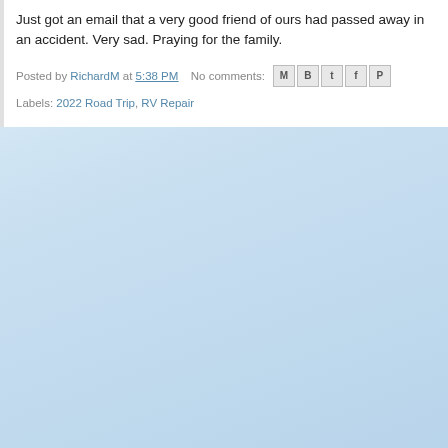Just got an email that a very good friend of ours had passed away in an accident. Very sad. Praying for the family.
Posted by RichardM at 5:38 PM   No comments:
Labels: 2022 Road Trip, RV Repair